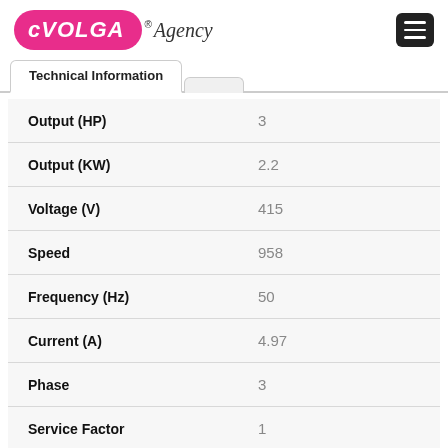VOLGA® Agency
| Parameter | Value |
| --- | --- |
| Output (HP) | 3 |
| Output (KW) | 2.2 |
| Voltage (V) | 415 |
| Speed | 958 |
| Frequency (Hz) | 50 |
| Current (A) | 4.97 |
| Phase | 3 |
| Service Factor | 1 |